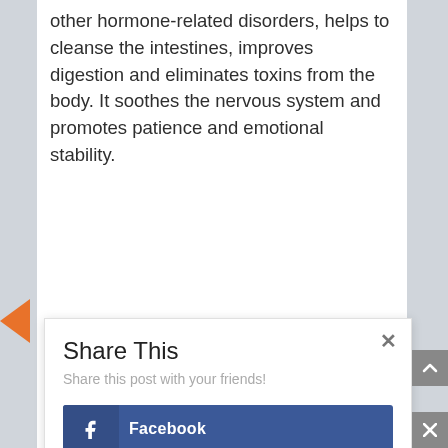other hormone-related disorders, helps to cleanse the intestines, improves digestion and eliminates toxins from the body. It soothes the nervous system and promotes patience and emotional stability.
[Figure (screenshot): Share This dialog box with social sharing buttons for Facebook, Twitter, Gmail, and reddit. Has a close X button in top right corner and subtitle 'Share this post with your friends!']